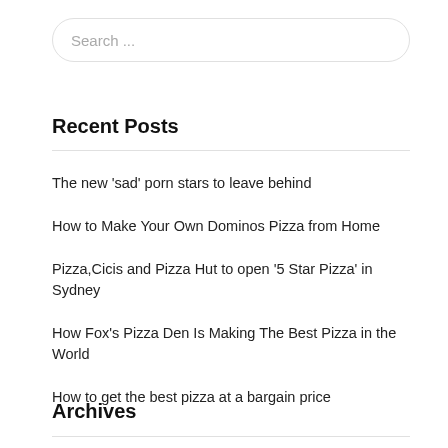Search ...
Recent Posts
The new 'sad' porn stars to leave behind
How to Make Your Own Dominos Pizza from Home
Pizza,Cicis and Pizza Hut to open '5 Star Pizza' in Sydney
How Fox's Pizza Den Is Making The Best Pizza in the World
How to get the best pizza at a bargain price
Archives